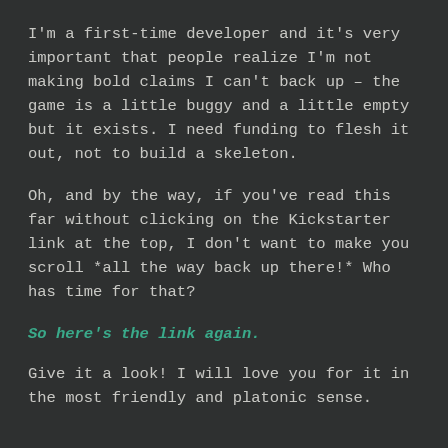I'm a first-time developer and it's very important that people realize I'm not making bold claims I can't back up – the game is a little buggy and a little empty but it exists. I need funding to flesh it out, not to build a skeleton.
Oh, and by the way, if you've read this far without clicking on the Kickstarter link at the top, I don't want to make you scroll *all the way back up there!* Who has time for that?
So here's the link again.
Give it a look! I will love you for it in the most friendly and platonic sense.
Let me know what you think, and please share this post! With the possible exception of the game's launch in 10